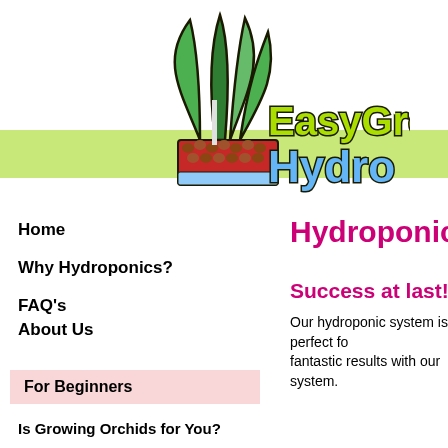[Figure (logo): EasyGro Hydro logo with green plant leaves and hydroponic system graphic, with a light green horizontal bar background]
Home
Why Hydroponics?
FAQ's
About Us
For Beginners
Is Growing Orchids for You?
Hydroponics f
Success at last!
Our hydroponic system is perfect fo... fantastic results with our system.